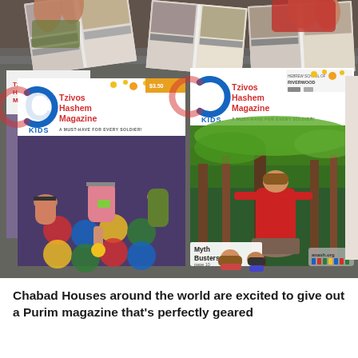[Figure (photo): Photograph showing multiple copies of Tzivos Hashem CKids Magazine spread out on a surface. Two prominent magazine covers are visible: the left cover shows children playing on a colorful mat, the right cover shows a child outdoors in a forest setting with 'Myth Busters page 10' text. Additional magazines and open spreads are visible in the background. An anash.org watermark appears in the bottom right.]
Chabad Houses around the world are excited to give out a Purim magazine that's perfectly geared